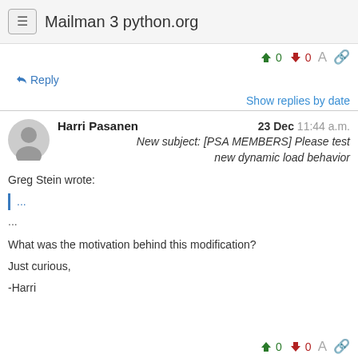Mailman 3 python.org
0  0
Reply
Show replies by date
Harri Pasanen  23 Dec 11:44 a.m.
New subject: [PSA MEMBERS] Please test new dynamic load behavior
Greg Stein wrote:
...
...
What was the motivation behind this modification?
Just curious,
-Harri
0  0